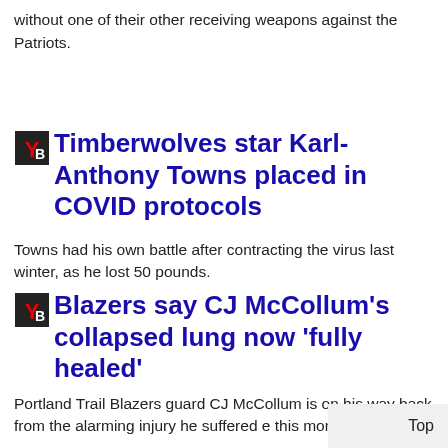without one of their other receiving weapons against the Patriots.
Timberwolves star Karl-Anthony Towns placed in COVID protocols
Towns had his own battle after contracting the virus last winter, as he lost 50 pounds.
Blazers say CJ McCollum's collapsed lung now 'fully healed'
Portland Trail Blazers guard CJ McCollum is on his way back from the alarming injury he suffered e this month.